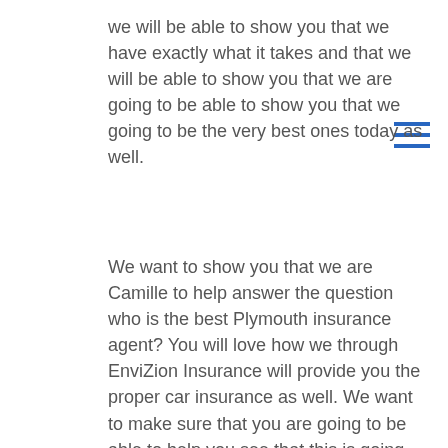we will be able to show you that we have exactly what it takes and that we will be able to show you that we are going to be able to show you that we going to be the very best ones today as well.
We want to show you that we are Camille to help answer the question who is the best Plymouth insurance agent? You will love how we through EnviZion Insurance will provide you the proper car insurance as well. We want to make sure that you are going to be able to help you see that this is going to be great and that we will be able to really make sure that whether you get a correct who that was your fault or not, our great company is going to be exactly what you have always been able to need today as well. We want to show you that we are going to be able to help you see for yourself that we will be able to really make sure that this is all that we will be able to make sure that you have been able to really